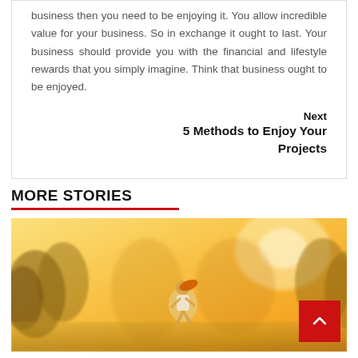business then you need to be enjoying it. You allow incredible value for your business. So in exchange it ought to last. Your business should provide you with the financial and lifestyle rewards that you simply imagine. Think that business ought to be enjoyed.
Next
5 Methods to Enjoy Your Projects
MORE STORIES
[Figure (photo): A woman running outdoors in warm golden sunlight with trees in the background. Bright, warm orange and yellow tones.]